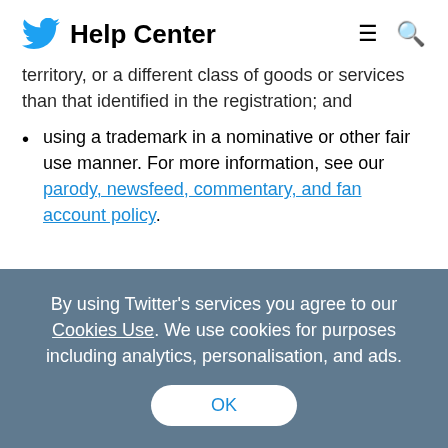Twitter Help Center
territory, or a different class of goods or services than that identified in the registration; and
using a trademark in a nominative or other fair use manner. For more information, see our parody, newsfeed, commentary, and fan account policy.
By using Twitter's services you agree to our Cookies Use. We use cookies for purposes including analytics, personalisation, and ads.